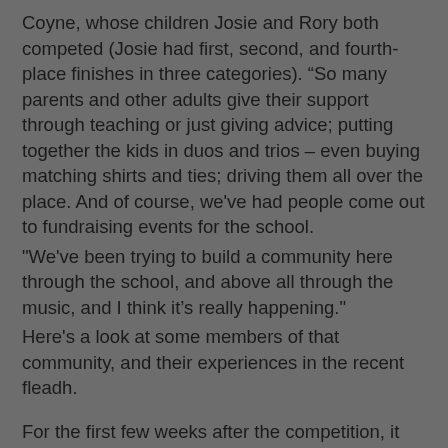Coyne, whose children Josie and Rory both competed (Josie had first, second, and fourth-place finishes in three categories). “So many parents and other adults give their support through teaching or just giving advice; putting together the kids in duos and trios – even buying matching shirts and ties; driving them all over the place. And of course, we've had people come out to fundraising events for the school.
"We've been trying to build a community here through the school, and above all through the music, and I think it’s really happening."
Here's a look at some members of that community, and their experiences in the recent fleadh.

For the first few weeks after the competition, it looked like 10-year-old Audrey’s second go-round in the Mid-Atlantic Fleadh would be another something-to-build-on exercise. Then in late May, she got word that one